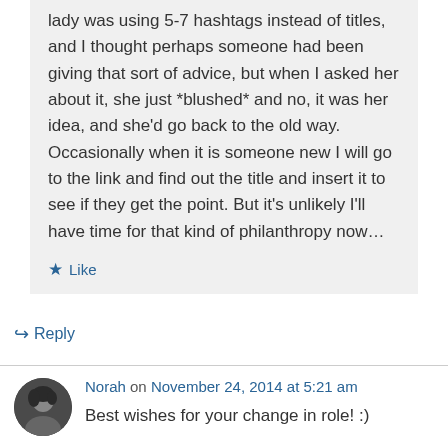lady was using 5-7 hashtags instead of titles, and I thought perhaps someone had been giving that sort of advice, but when I asked her about it, she just *blushed* and no, it was her idea, and she'd go back to the old way. Occasionally when it is someone new I will go to the link and find out the title and insert it to see if they get the point. But it's unlikely I'll have time for that kind of philanthropy now…
★ Like
↪ Reply
Norah on November 24, 2014 at 5:21 am
Best wishes for your change in role! :)